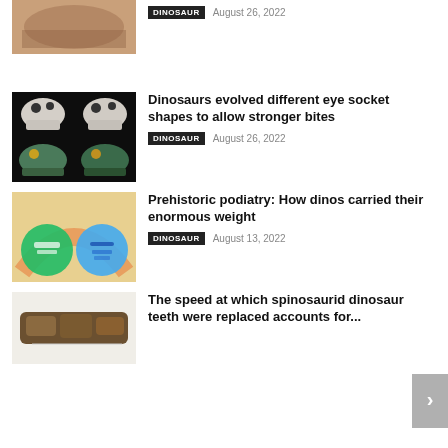[Figure (photo): Partial dinosaur fossil or bone photo, brownish/tan color, cropped at top]
DINOSAUR   August 26, 2022
[Figure (photo): Two dinosaur skull models on top row (white skulls on black background) and two reconstructed dinosaur head models on bottom row]
Dinosaurs evolved different eye socket shapes to allow stronger bites
DINOSAUR   August 26, 2022
[Figure (photo): Illustration showing dinosaur foot bones comparison with circular diagrams on colorful background (teal, orange, blue)]
Prehistoric podiatry: How dinos carried their enormous weight
DINOSAUR   August 13, 2022
[Figure (photo): Dark brown spinosaur teeth fossil specimens on white background]
The speed at which spinosaurid dinosaur teeth were replaced accounts for...